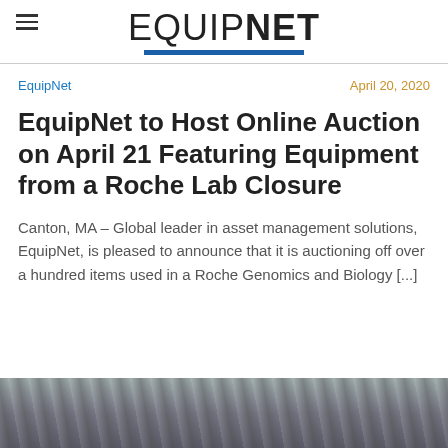EQUIPNET
EquipNet
April 20, 2020
EquipNet to Host Online Auction on April 21 Featuring Equipment from a Roche Lab Closure
Canton, MA – Global leader in asset management solutions, EquipNet, is pleased to announce that it is auctioning off over a hundred items used in a Roche Genomics and Biology [...]
[Figure (photo): Photograph strip at bottom of page showing laboratory or industrial equipment]